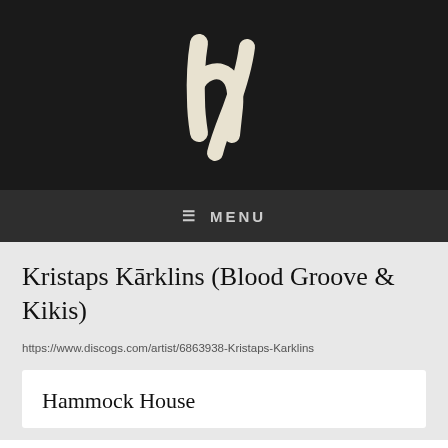[Figure (logo): Stylized handwritten 'h/' logo mark in cream/off-white on black background]
≡ MENU
Kristaps Kārklins (Blood Groove & Kikis)
https://www.discogs.com/artist/6863938-Kristaps-Karklins
Hammock House